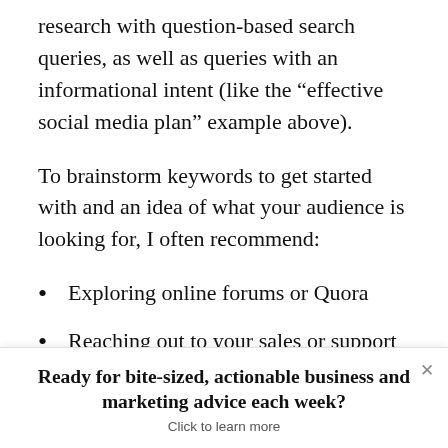research with question-based search queries, as well as queries with an informational intent (like the “effective social media plan” example above).
To brainstorm keywords to get started with and an idea of what your audience is looking for, I often recommend:
Exploring online forums or Quora
Reaching out to your sales or support teams to see what types of questions they get asked
Ready for bite-sized, actionable business and marketing advice each week?
Click to learn more